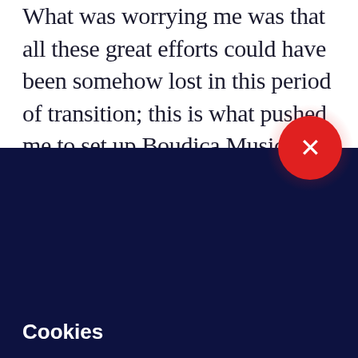What was worrying me was that all these great efforts could have been somehow lost in this period of transition; this is what pushed me to set up Boudica Music
[Figure (other): Red circular close/dismiss button with an X symbol, positioned at the boundary between the white and dark navy sections]
Cookies
We use cookies to improve your experience on our website, assess how you use our website and for website security purposes. By continuing to navigate this website, we'll assume you agree to this. Read more about what cookies do and how to adjust your settings here.